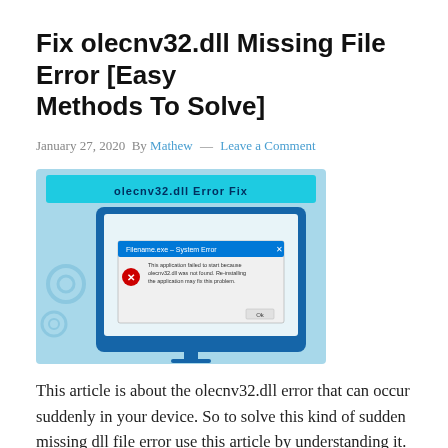Fix olecnv32.dll Missing File Error [Easy Methods To Solve]
January 27, 2020 By Mathew — Leave a Comment
[Figure (screenshot): Screenshot showing a Windows System Error dialog box with olecnv32.dll error message on a blue themed background with 'olecnv32.dll Error Fix' banner at top]
This article is about the olecnv32.dll error that can occur suddenly in your device. So to solve this kind of sudden missing dll file error use this article by understanding it. Follow the flow of this article to